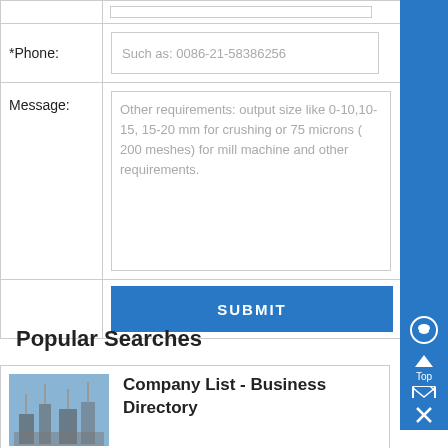| *Phone: | Such as: 0086-21-58386256 |
| Message: | Other requirements: output size like 0-10,10-15, 15-20 mm for crushing or 75 microns ( 200 meshes) for mill machine and other requirements. |
|  | SUBMIT |
Popular Searches
Company List - Business Directory